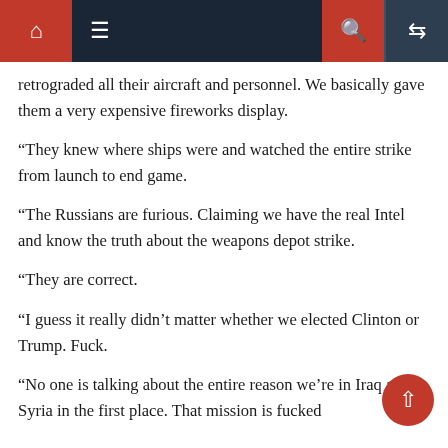[Navigation bar with home, menu, search, and shuffle icons]
retrograded all their aircraft and personnel. We basically gave them a very expensive fireworks display.
“They knew where ships were and watched the entire strike from launch to end game.
“The Russians are furious. Claiming we have the real Intel and know the truth about the weapons depot strike.
“They are correct.
“I guess it really didn’t matter whether we elected Clinton or Trump. Fuck.
“No one is talking about the entire reason we’re in Iraq and Syria in the first place. That mission is fucked